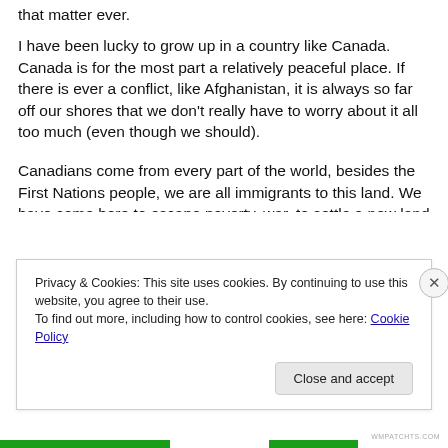that matter ever.
I have been lucky to grow up in a country like Canada. Canada is for the most part a relatively peaceful place. If there is ever a conflict, like Afghanistan, it is always so far off our shores that we don’t really have to worry about it all too much (even though we should).
Canadians come from every part of the world, besides the First Nations people, we are all immigrants to this land. We have come here to escape poverty, war, to settle a new land and most of all to make a better life for ourselves
Privacy & Cookies: This site uses cookies. By continuing to use this website, you agree to their use.
To find out more, including how to control cookies, see here: Cookie Policy
Close and accept